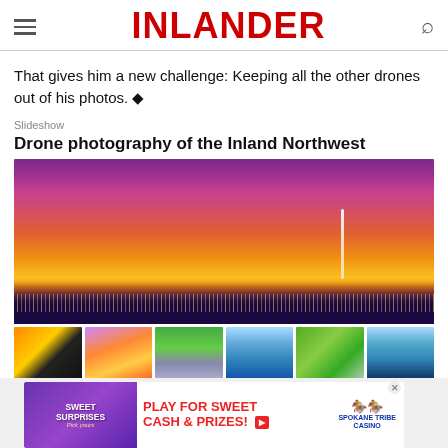INLANDER
That gives him a new challenge: Keeping all the other drones out of his photos. ♦
Slideshow
Drone photography of the Inland Northwest
[Figure (photo): Aerial drone photo of a city skyline at sunset with vivid purple, orange, and yellow sky and a lightning bolt visible on the right side]
[Figure (photo): Thumbnail strip of six drone photos of Inland Northwest locations]